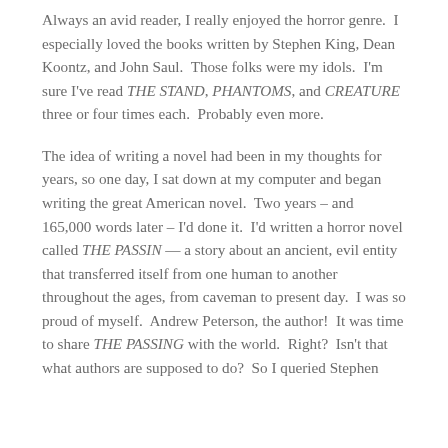Always an avid reader, I really enjoyed the horror genre. I especially loved the books written by Stephen King, Dean Koontz, and John Saul. Those folks were my idols. I'm sure I've read THE STAND, PHANTOMS, and CREATURE three or four times each. Probably even more.
The idea of writing a novel had been in my thoughts for years, so one day, I sat down at my computer and began writing the great American novel. Two years – and 165,000 words later – I'd done it. I'd written a horror novel called THE PASSIN — a story about an ancient, evil entity that transferred itself from one human to another throughout the ages, from caveman to present day. I was so proud of myself. Andrew Peterson, the author! It was time to share THE PASSING with the world. Right? Isn't that what authors are supposed to do? So I queried Stephen